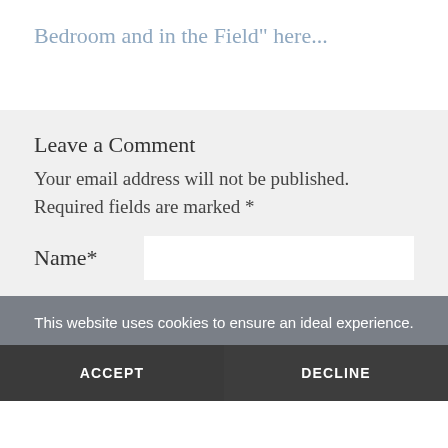Bedroom and in the Field" here...
Leave a Comment
Your email address will not be published.
Required fields are marked *
Name*
This website uses cookies to ensure an ideal experience.
ACCEPT
DECLINE